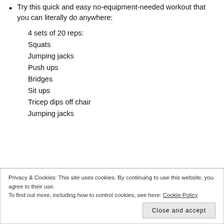Try this quick and easy no-equipment-needed workout that you can literally do anywhere:
4 sets of 20 reps:
Squats
Jumping jacks
Push ups
Bridges
Sit ups
Tricep dips off chair
Jumping jacks
Privacy & Cookies: This site uses cookies. By continuing to use this website, you agree to their use.
To find out more, including how to control cookies, see here: Cookie Policy
Close and accept